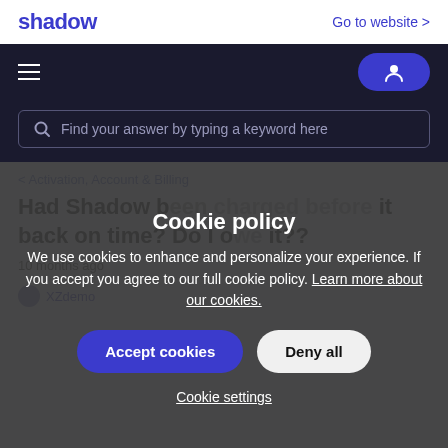shadow   Go to website >
[Figure (screenshot): Navigation bar with hamburger menu and user account button]
[Figure (screenshot): Search bar with placeholder text: Find your answer by typing a keyword here]
< Activation, Account & Billing
Cookie policy
We use cookies to enhance and personalize your experience. If you accept you agree to our full cookie policy. Learn more about our cookies.
Accept cookies   Deny all
Cookie settings
Had Shadow be... it back on time? Do I o... it??
10 months ago
XZdemo